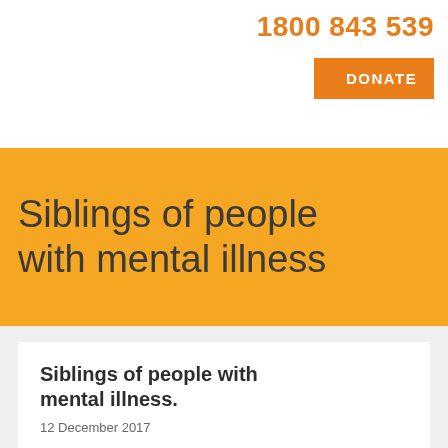1800 843 539
DONATE
Siblings of people with mental illness
Siblings of people with mental illness.
12 December 2017